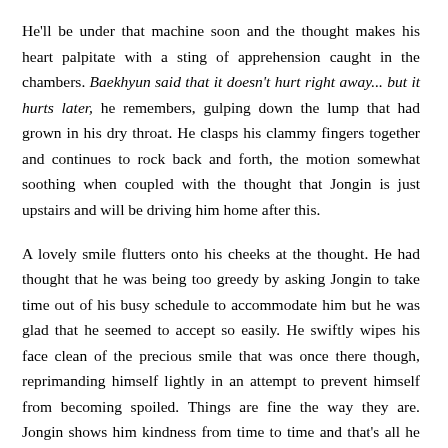He'll be under that machine soon and the thought makes his heart palpitate with a sting of apprehension caught in the chambers. Baekhyun said that it doesn't hurt right away... but it hurts later, he remembers, gulping down the lump that had grown in his dry throat. He clasps his clammy fingers together and continues to rock back and forth, the motion somewhat soothing when coupled with the thought that Jongin is just upstairs and will be driving him home after this.
A lovely smile flutters onto his cheeks at the thought. He had thought that he was being too greedy by asking Jongin to take time out of his busy schedule to accommodate him but he was glad that he seemed to accept so easily. He swiftly wipes his face clean of the precious smile that was once there though, reprimanding himself lightly in an attempt to prevent himself from becoming spoiled. Things are fine the way they are. Jongin shows him kindness from time to time and that's all he needs to be happy. Any more and he'll be spoiled to the point of a hopeless love, being captured in a chasm where every moment together with Jongin will only cause him pain.
The automatic glass door finally slides open with a woosh of air and Kyungsoo